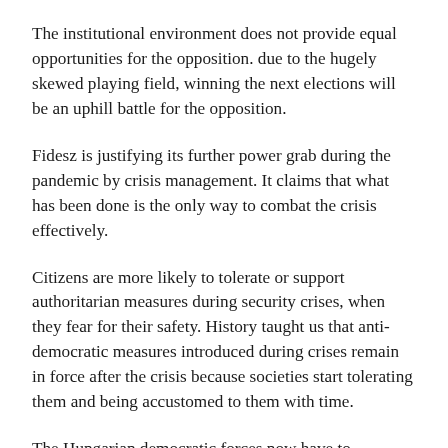The institutional environment does not provide equal opportunities for the opposition. due to the hugely skewed playing field, winning the next elections will be an uphill battle for the opposition.
Fidesz is justifying its further power grab during the pandemic by crisis management. It claims that what has been done is the only way to combat the crisis effectively.
Citizens are more likely to tolerate or support authoritarian measures during security crises, when they fear for their safety. History taught us that anti-democratic measures introduced during crises remain in force after the crisis because societies start tolerating them and being accustomed to them with time.
The Hungarian democratic forces now have to challenge this particularly dangerous notion, claiming that